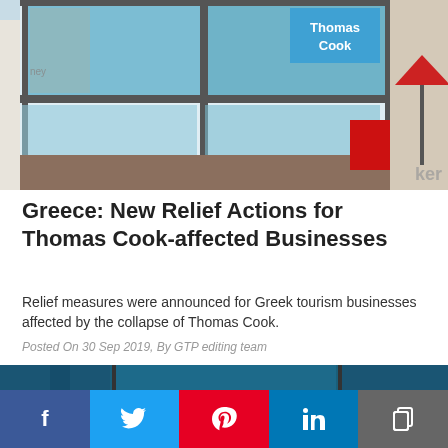[Figure (photo): Exterior photo of a Thomas Cook travel agency storefront with large glass windows and blue signage. Adjacent restaurant with red umbrella visible to the right.]
Greece: New Relief Actions for Thomas Cook-affected Businesses
Relief measures were announced for Greek tourism businesses affected by the collapse of Thomas Cook.
Posted On 30 Sep 2019, By GTP editing team
[Figure (photo): Partial photo showing a person in a red shirt against a dark blue background, partially cropped at bottom of page.]
[Figure (infographic): Social media sharing bar with buttons for Facebook, Twitter, Pinterest, LinkedIn, and Copy.]